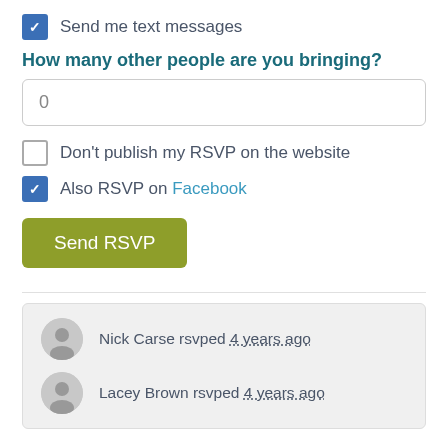Send me text messages
How many other people are you bringing?
0
Don't publish my RSVP on the website
Also RSVP on Facebook
Send RSVP
Nick Carse rsvped 4 years ago
Lacey Brown rsvped 4 years ago